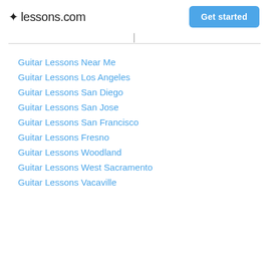lessons.com  Get started
Guitar Lessons Near Me
Guitar Lessons Los Angeles
Guitar Lessons San Diego
Guitar Lessons San Jose
Guitar Lessons San Francisco
Guitar Lessons Fresno
Guitar Lessons Woodland
Guitar Lessons West Sacramento
Guitar Lessons Vacaville